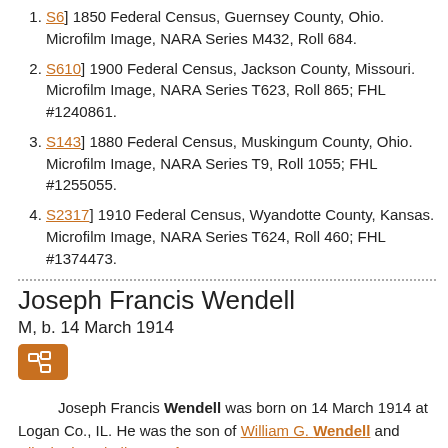[S6] 1850 Federal Census, Guernsey County, Ohio. Microfilm Image, NARA Series M432, Roll 684.
[S610] 1900 Federal Census, Jackson County, Missouri. Microfilm Image, NARA Series T623, Roll 865; FHL #1240861.
[S143] 1880 Federal Census, Muskingum County, Ohio. Microfilm Image, NARA Series T9, Roll 1055; FHL #1255055.
[S2317] 1910 Federal Census, Wyandotte County, Kansas. Microfilm Image, NARA Series T624, Roll 460; FHL #1374473.
Joseph Francis Wendell
M, b. 14 March 1914
Joseph Francis Wendell was born on 14 March 1914 at Logan Co., IL. He was the son of William G. Wendell and Elizabeth Isabella Lappin.
Joseph William Wendell
M, b. 14 December 1848
Joseph William Wendell was born on 14 December 1848 at Pike Co., OH.